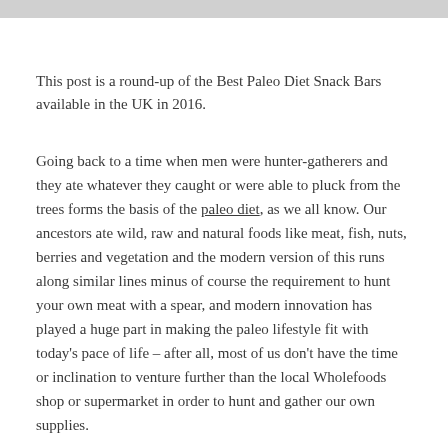This post is a round-up of the Best Paleo Diet Snack Bars available in the UK in 2016.
Going back to a time when men were hunter-gatherers and they ate whatever they caught or were able to pluck from the trees forms the basis of the paleo diet, as we all know. Our ancestors ate wild, raw and natural foods like meat, fish, nuts, berries and vegetation and the modern version of this runs along similar lines minus of course the requirement to hunt your own meat with a spear, and modern innovation has played a huge part in making the paleo lifestyle fit with today's pace of life – after all, most of us don't have the time or inclination to venture further than the local Wholefoods shop or supermarket in order to hunt and gather our own supplies.